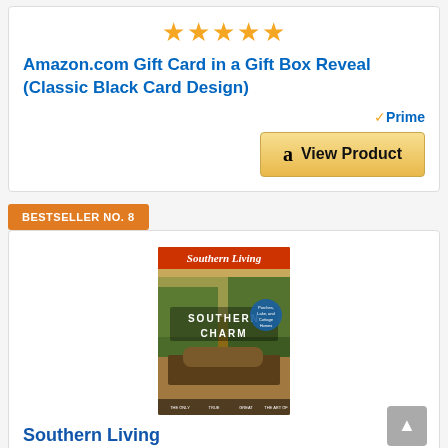[Figure (other): Five gold/yellow star rating icons centered]
Amazon.com Gift Card in a Gift Box Reveal (Classic Black Card Design)
[Figure (logo): Amazon Prime badge with checkmark and 'Prime' text]
[Figure (other): View Product button with Amazon 'a' logo]
BESTSELLER NO. 8
[Figure (photo): Southern Living magazine cover showing Southern Charm issue with outdoor porch scene]
Southern Living